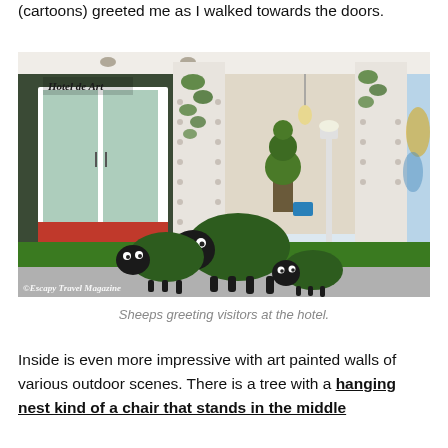(cartoons) greeted me as I walked towards the doors.
[Figure (photo): Photo of the entrance of Hotel de Art with sheep sculptures (cartoon-style green sheep) on a green grass mat in front of white pillars. The hotel sign reads 'Hotel de Art'. A watermark reads '©Escapy Travel Magazine'.]
Sheeps greeting visitors at the hotel.
Inside is even more impressive with art painted walls of various outdoor scenes. There is a tree with a hanging nest kind of a chair that stands in the middle